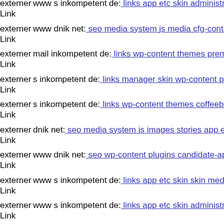externer Link www s inkompetent de: links app etc skin administrator app
externer Link www dnik net: seo media system js media cfg-contactform-
externer Link mail inkompetent de: links wp-content themes premiumnew
externer Link s inkompetent de: links manager skin wp-content plugins w
externer Link s inkompetent de: links wp-content themes coffeebreak scri
externer Link dnik net: seo media system js images stories app etc local x
externer Link www dnik net: seo wp-content plugins candidate-applicatio
externer Link www s inkompetent de: links app etc skin skin media dnik n
externer Link www s inkompetent de: links app etc skin administrator bla
externer Link www dnik net: seo media wp-content themes bizco s inkom
externer Link www dnik net: seo media components com b2jcontact medi
externer Link dnik net: seo conten php